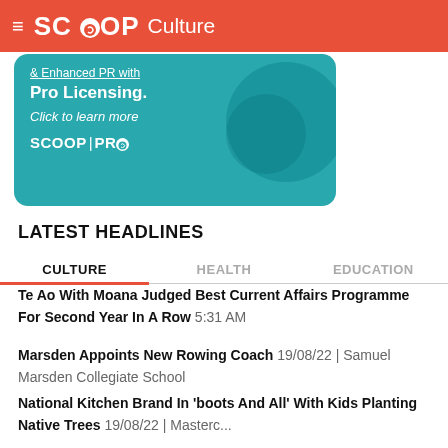SCOOP Culture
[Figure (illustration): Scoop Pro advertisement banner on teal background showing text '& Enhanced PR with Pro Licensing. Click to learn more' and SCOOP PRO logo]
LATEST HEADLINES
CULTURE | HEALTH | EDUCATION
Te Ao With Moana Judged Best Current Affairs Programme For Second Year In A Row 5:31 AM
Marsden Appoints New Rowing Coach 19/08/22 | Samuel Marsden Collegiate School
National Kitchen Brand In 'boots And All' With Kids Planting Native Trees 19/08/22 | Masterc...